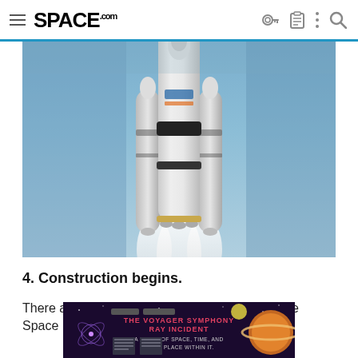SPACE.com
[Figure (photo): NASA Space Launch System (SLS) rocket launching upward against a blue sky, viewed from below, showing the main core stage and two solid rocket boosters with engine plumes.]
4. Construction begins.
There are three currently planned versions of the Space
[Figure (infographic): Advertisement banner for 'The Voyager Symphony Ray Incident - A Study of Space, Time, and Man's Place Within It' with dark purple/navy background and planetary imagery.]